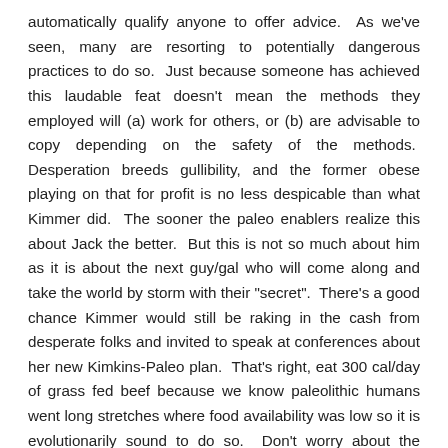automatically qualify anyone to offer advice. As we've seen, many are resorting to potentially dangerous practices to do so. Just because someone has achieved this laudable feat doesn't mean the methods they employed will (a) work for others, or (b) are advisable to copy depending on the safety of the methods. Desperation breeds gullibility, and the former obese playing on that for profit is no less despicable than what Kimmer did. The sooner the paleo enablers realize this about Jack the better. But this is not so much about him as it is about the next guy/gal who will come along and take the world by storm with their "secret". There's a good chance Kimmer would still be raking in the cash from desperate folks and invited to speak at conferences about her new Kimkins-Paleo plan. That's right, eat 300 cal/day of grass fed beef because we know paleolithic humans went long stretches where food availability was low so it is evolutionarily sound to do so. Don't worry about the cessation of periods if you've had children, that's probably paleo, and probably having kids isn't paleo for everyone anyway. Don't worry about hair falling